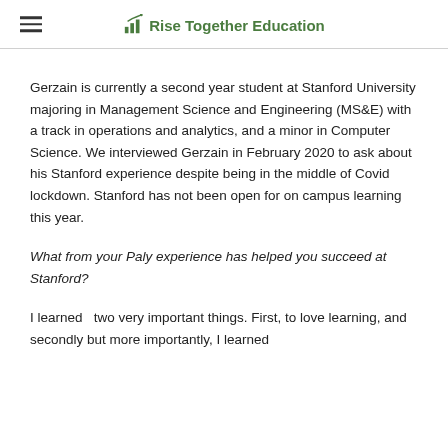Rise Together Education
Gerzain is currently a second year student at Stanford University majoring in Management Science and Engineering (MS&E) with a track in operations and analytics, and a minor in Computer Science. We interviewed Gerzain in February 2020 to ask about his Stanford experience despite being in the middle of Covid lockdown. Stanford has not been open for on campus learning this year.
What from your Paly experience has helped you succeed at Stanford?
I learned  two very important things. First, to love learning, and secondly but more importantly, I learned